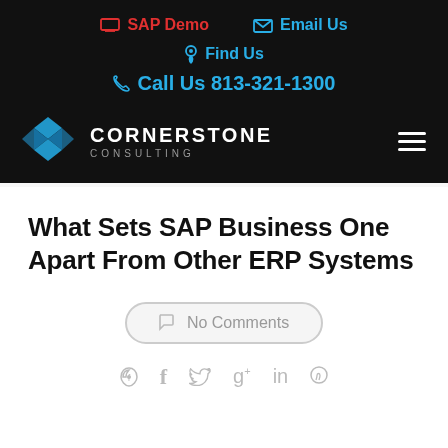SAP Demo  Email Us  Find Us  Call Us 813-321-1300
[Figure (logo): Cornerstone Consulting logo with blue diamond grid icon and white text on black background]
What Sets SAP Business One Apart From Other ERP Systems
No Comments
f  t  g+  in  p